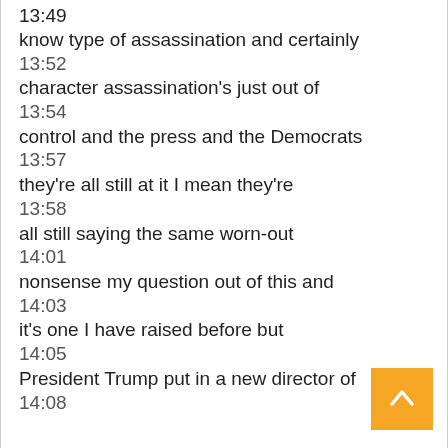13:49
know type of assassination and certainly
13:52
character assassination's just out of
13:54
control and the press and the Democrats
13:57
they're all still at it I mean they're
13:58
all still saying the same worn-out
14:01
nonsense my question out of this and
14:03
it's one I have raised before but
14:05
President Trump put in a new director of
14:08